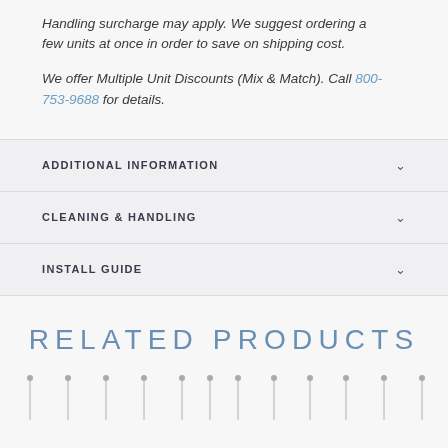Handling surcharge may apply. We suggest ordering a few units at once in order to save on shipping cost.

We offer Multiple Unit Discounts (Mix & Match). Call 800-753-9688 for details.
ADDITIONAL INFORMATION
CLEANING & HANDLING
INSTALL GUIDE
RELATED PRODUCTS
[Figure (illustration): Row of decorative pins/needles shown from above at the bottom of the page, serving as product thumbnails.]